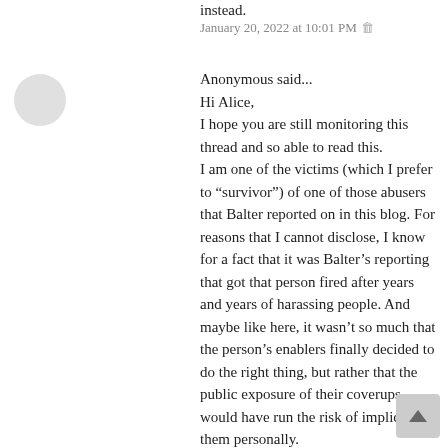instead.
January 20, 2022 at 10:01 PM 🗑
Anonymous said...
Hi Alice,
I hope you are still monitoring this thread and so able to read this.
I am one of the victims (which I prefer to “survivor”) of one of those abusers that Balter reported on in this blog. For reasons that I cannot disclose, I know for a fact that it was Balter’s reporting that got that person fired after years and years of harassing people. And maybe like here, it wasn’t so much that the person’s enablers finally decided to do the right thing, but rather that the public exposure of their coverups would have run the risk of implicating them personally.
This is the reason why I trust Balter’s reporting, but, not to the point of blind faith. If you have any new information on why he made a mistake in this case or others, please do share it with us. If not, please stop meddling at once and let the other victims/survivors get the closure they deserve.